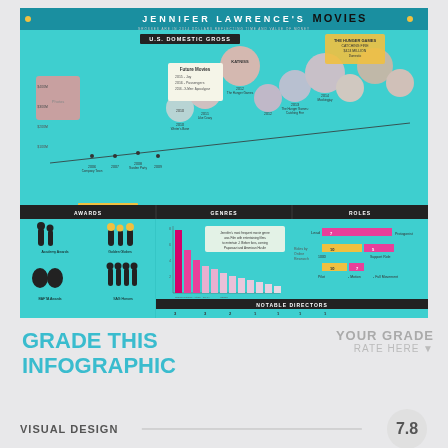[Figure (infographic): Jennifer Lawrence's Movies infographic showing U.S. Domestic Gross timeline, Awards section with Oscar and Golden Globe statuettes, Genres bar chart in pink/magenta, Roles section with colored bars, and Notable Directors section with photos.]
GRADE THIS INFOGRAPHIC
YOUR GRADE
RATE HERE
VISUAL DESIGN
7.8